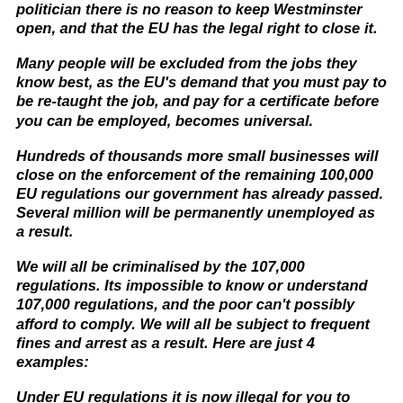politician there is no reason to keep Westminster open, and that the EU has the legal right to close it.
Many people will be excluded from the jobs they know best, as the EU's demand that you must pay to be re-taught the job, and pay for a certificate before you can be employed, becomes universal.
Hundreds of thousands more small businesses will close on the enforcement of the remaining 100,000 EU regulations our government has already passed. Several million will be permanently unemployed as a result.
We will all be criminalised by the 107,000 regulations. Its impossible to know or understand 107,000 regulations, and the poor can't possibly afford to comply. We will all be subject to frequent fines and arrest as a result. Here are just 4 examples:
Under EU regulations it is now illegal for you to repair your plumbing, electrics or your car (from 1st January 2006). If you buy a boat over six feet long, built after the EU Recreational Craft Directive of 1999, and don't pay